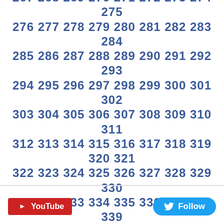222 223 224 225 226 227 228 229 230 231 232 233 234 235 236 237 238 239 240 241 242 243 244 245 246 247 248 249 250 251 252 253 254 255 256 257 258 259 260 261 262 263 264 265 266 267 268 269 270 271 272 273 274 275 276 277 278 279 280 281 282 283 284 285 286 287 288 289 290 291 292 293 294 295 296 297 298 299 300 301 302 303 304 305 306 307 308 309 310 311 312 313 314 315 316 317 318 319 320 321 322 323 324 325 326 327 328 329 330 331 332 333 334 335 336 337 338 339 340 341 342 343 344 345 346 347 348 349 350 351 352 353 354 355 356 357 358 359 360 361 362 363 364 365 366 367 368 369 370 371 372 373 374 375 ...
[Figure (other): YouTube button (red) and Twitter Follow button (blue) in footer area]